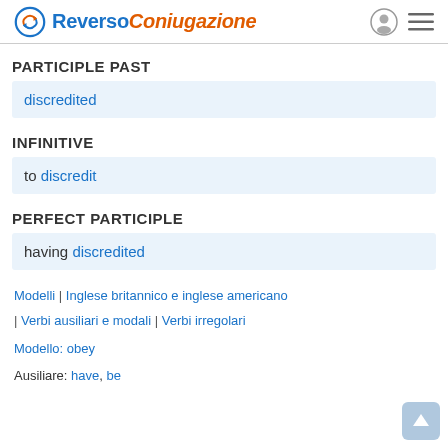Reverso Coniugazione
PARTICIPLE PAST
discredited
INFINITIVE
to discredit
PERFECT PARTICIPLE
having discredited
Modelli | Inglese britannico e inglese americano
| Verbi ausiliari e modali | Verbi irregolari
Modello: obey
Ausiliare: have, be